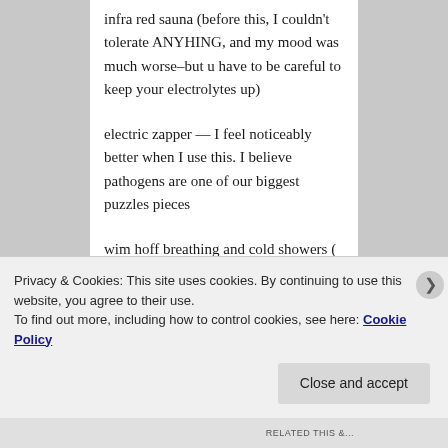infra red sauna (before this, I couldn't tolerate ANYHING, and my mood was much worse–but u have to be careful to keep your electrolytes up)
electric zapper — I feel noticeably better when I use this. I believe pathogens are one of our biggest puzzles pieces
wim hoff breathing and cold showers ( this is a powerful one– careful if you are sensitive) I did
Privacy & Cookies: This site uses cookies. By continuing to use this website, you agree to their use.
To find out more, including how to control cookies, see here: Cookie Policy
Close and accept